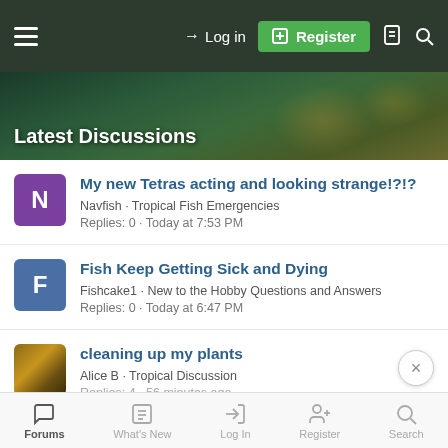Log in  Register
Latest Discussions
My new Tetras acting and looking strange!?!? · Navfish · Tropical Fish Emergencies · Replies: 0 · Today at 7:53 PM
Fish Keep Getting Sick and Dying · Fishcake1 · New to the Hobby Questions and Answers · Replies: 0 · Today at 6:47 PM
cleaning up my plants · Alice B · Tropical Discussion · Replies: 4 · 56 minutes ago
Forums  What's New  Log In  Register  Search